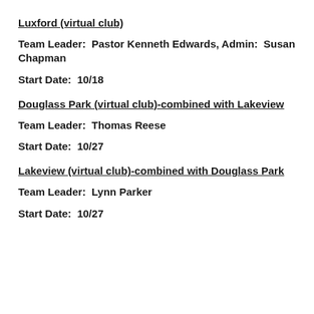Luxford (virtual club)
Team Leader:  Pastor Kenneth Edwards, Admin:  Susan Chapman
Start Date:  10/18
Douglass Park (virtual club)-combined with Lakeview
Team Leader:  Thomas Reese
Start Date:  10/27
Lakeview (virtual club)-combined with Douglass Park
Team Leader:  Lynn Parker
Start Date:  10/27